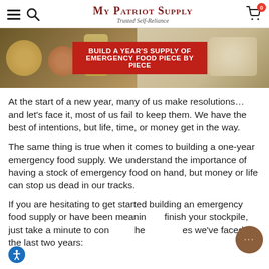My Patriot Supply — Trusted Self-Reliance
[Figure (photo): Banner image showing food items on a table, with a red overlay box containing bold white text: BUILD A YEAR'S SUPPLY OF EMERGENCY FOOD PIECE BY PIECE]
At the start of a new year, many of us make resolutions… and let's face it, most of us fail to keep them. We have the best of intentions, but life, time, or money get in the way.
The same thing is true when it comes to building a one-year emergency food supply. We understand the importance of having a stock of emergency food on hand, but money or life can stop us dead in our tracks.
If you are hesitating to get started building an emergency food supply or have been meaning to finish your stockpile, just take a minute to consider the challenges we've faced in the last two years: